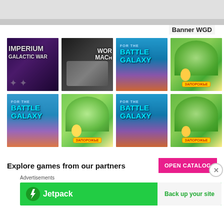Banner WGD
[Figure (screenshot): Grid of 8 game banner thumbnails: Imperium Galactic War, World of Machines, Battle for the Galaxy (x2), Зарожне (x2), Battle for the Galaxy (x2)]
Explore games from our partners
OPEN CATALOG
Advertisements
[Figure (screenshot): Jetpack advertisement banner: green background with Jetpack logo and 'Back up your site' button]